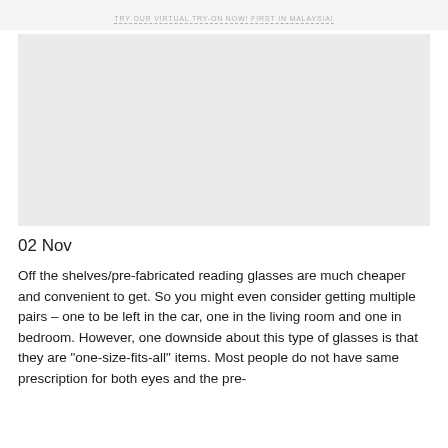TRY OUR VIRTUAL TRY-ON NOW! FIRST IN MALAYSIA!
[Figure (photo): Large image placeholder area with light grey background, likely a photo of reading glasses or eyewear product]
02 Nov
Off the shelves/pre-fabricated reading glasses are much cheaper and convenient to get. So you might even consider getting multiple pairs – one to be left in the car, one in the living room and one in bedroom. However, one downside about this type of glasses is that they are "one-size-fits-all" items. Most people do not have same prescription for both eyes and the pre-